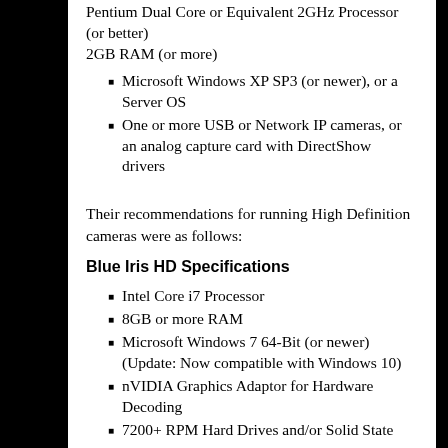Pentium Dual Core or Equivalent 2GHz Processor (or better)
2GB RAM (or more)
Microsoft Windows XP SP3 (or newer), or a Server OS
One or more USB or Network IP cameras, or an analog capture card with DirectShow drivers
Their recommendations for running High Definition cameras were as follows:
Blue Iris HD Specifications
Intel Core i7 Processor
8GB or more RAM
Microsoft Windows 7 64-Bit (or newer) (Update: Now compatible with Windows 10)
nVIDIA Graphics Adaptor for Hardware Decoding
7200+ RPM Hard Drives and/or Solid State